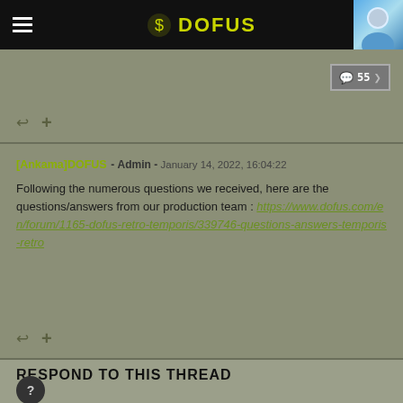DOFUS
↩ +
[Ankama]DOFUS - Admin - January 14, 2022, 16:04:22

Following the numerous questions we received, here are the questions/answers from our production team : https://www.dofus.com/en/forum/1165-dofus-retro-temporis/339746-questions-answers-temporis-retro
↩ +
RESPOND TO THIS THREAD